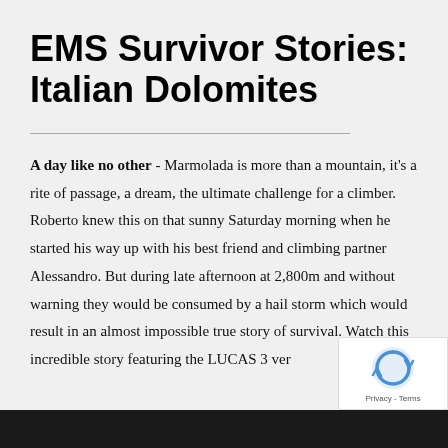EMS Survivor Stories: Italian Dolomites
A day like no other - Marmolada is more than a mountain, it's a rite of passage, a dream, the ultimate challenge for a climber. Roberto knew this on that sunny Saturday morning when he started his way up with his best friend and climbing partner Alessandro. But during late afternoon at 2,800m and without warning they would be consumed by a hail storm which would result in an almost impossible true story of survival. Watch this incredible story featuring the LUCAS 3 ver
[Figure (photo): Dark image at the bottom of the page, partially visible]